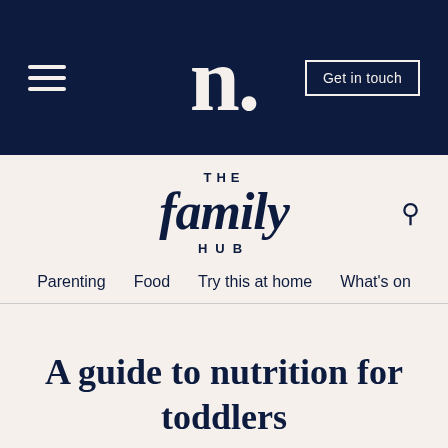n. | Get in touch
[Figure (logo): THE family HUB logo with search icon]
Parenting | Food | Try this at home | What's on
A guide to nutrition for toddlers
FOOD #Toddler